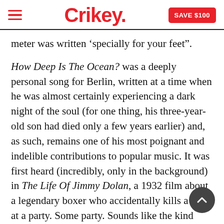Crikey. SAVE $100
meter was written ‘specially for your feet”.
How Deep Is The Ocean? was a deeply personal song for Berlin, written at a time when he was almost certainly experiencing a dark night of the soul (for one thing, his three-year-old son had died only a few years earlier) and, as such, remains one of his most poignant and indelible contributions to popular music. It was first heard (incredibly, only in the background) in The Life Of Jimmy Dolan, a 1932 film about a legendary boxer who accidentally kills a man at a party. Some party. Sounds like the kind Aussie footballers, of whatever code, enjoy. Paul Whiteman and his orchestra played it and Jack Fulton sang it